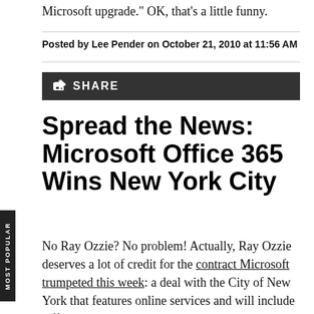Microsoft upgrade." OK, that's a little funny.
Posted by Lee Pender on October 21, 2010 at 11:56 AM
[Figure (other): Share button bar with share icon and SHARE text on dark background]
Spread the News: Microsoft Office 365 Wins New York City
No Ray Ozzie? No problem! Actually, Ray Ozzie deserves a lot of credit for the contract Microsoft trumpeted this week: a deal with the City of New York that features online services and will include Office 365.